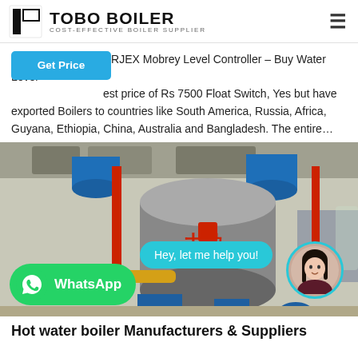[Figure (logo): TOBO BOILER logo with black geometric icon and text 'TOBO BOILER' and subtitle 'COST-EFFECTIVE BOILER SUPPLIER']
URJEX Mobrey Level Controller – Buy Water Level est price of Rs 7500 Float Switch, Yes but have exported Boilers to countries like South America, Russia, Africa, Guyana, Ethiopia, China, Australia and Bangladesh. The entire…
[Figure (photo): Industrial boiler room with large cylindrical boilers, yellow and red pipes, blue cylindrical tanks, and industrial equipment. Overlay shows a chat bubble saying 'Hey, let me help you!' with a female avatar and a WhatsApp button.]
Hot water boiler Manufacturers & Suppliers